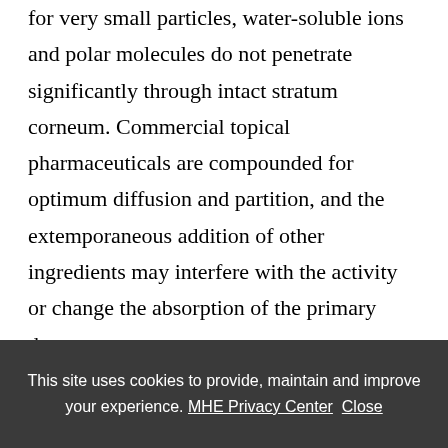for very small particles, water-soluble ions and polar molecules do not penetrate significantly through intact stratum corneum. Commercial topical pharmaceuticals are compounded for optimum diffusion and partition, and the extemporaneous addition of other ingredients may interfere with the activity or change the absorption of the primary drug.
Drugs may target enzymes or cells of any of the skin compartments, including inflammatory cells
This site uses cookies to provide, maintain and improve your experience. MHE Privacy Center  Close